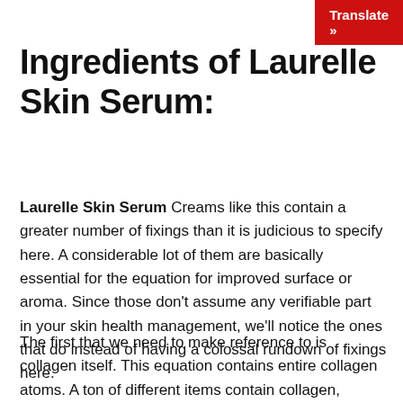Translate »
Ingredients of Laurelle Skin Serum:
Laurelle Skin Serum Creams like this contain a greater number of fixings than it is judicious to specify here. A considerable lot of them are basically essential for the equation for improved surface or aroma. Since those don't assume any verifiable part in your skin health management, we'll notice the ones that do instead of having a colossal rundown of fixings here.
The first that we need to make reference to is collagen itself. This equation contains entire collagen atoms. A ton of different items contain collagen, however just